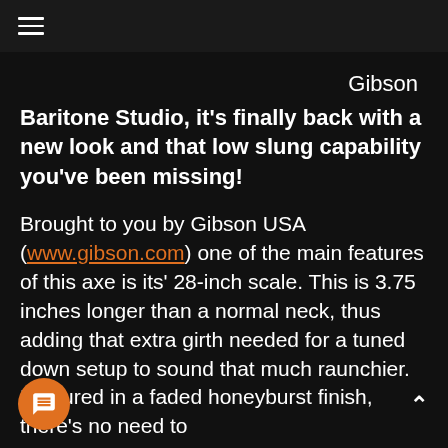≡
Gibson
Baritone Studio, it's finally back with a new look and that low slung capability you've been missing!
Brought to you by Gibson USA (www.gibson.com) one of the main features of this axe is its' 28-inch scale. This is 3.75 inches longer than a normal neck, thus adding that extra girth needed for a tuned down setup to sound that much raunchier. Featured in a faded honeyburst finish, there's no need to